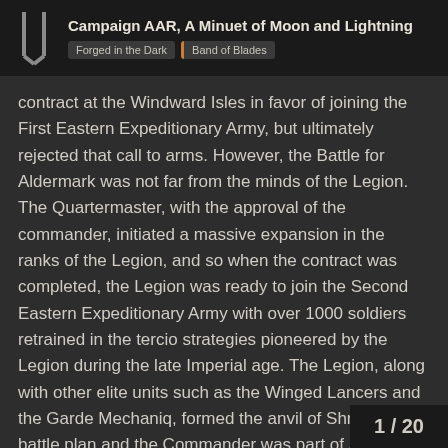Campaign AAR, A Minuet of Moon and Lightning | Forged in the Dark | Band of Blades
contract at the Windward Isles in favor of joining the First Eastern Expeditionary Army, but ultimately rejected that call to arms. However, the Battle for Aldermark was not far from the minds of the Legion. The Quartermaster, with the approval of the commander, initiated a massive expansion in the ranks of the Legion, and so when the contract was completed, the Legion was ready to join the Second Eastern Expeditionary Army with over 1000 soldiers retrained in the tercio strategies pioneered by the Legion during the late Imperial age. The Legion, along with other elite units such as the Winged Lancers and the Garde Mechaniq, formed the anvil of Shreya's battle plan and the Commander was part of Shreya's grand council.
It was shortly before Ettenmark Fields that Shreya foreseen the Salutary path, in the same manner as she had foresaw three years earlier in the pivotal moment at the Battle of Karlsberg which snatched a stalemate from the jaws of defeat (the Legion would later be told of a third such moment... the oracular statement of the Bartan Chos...